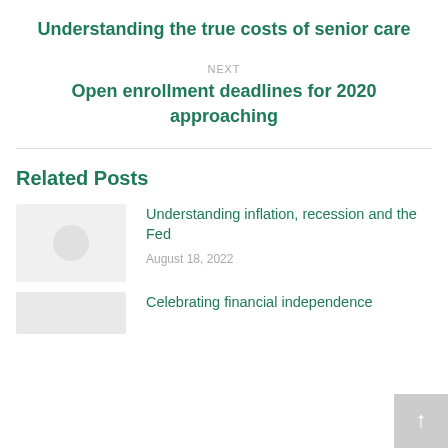Understanding the true costs of senior care
NEXT
Open enrollment deadlines for 2020 approaching
Related Posts
Understanding inflation, recession and the Fed
August 18, 2022
Celebrating financial independence